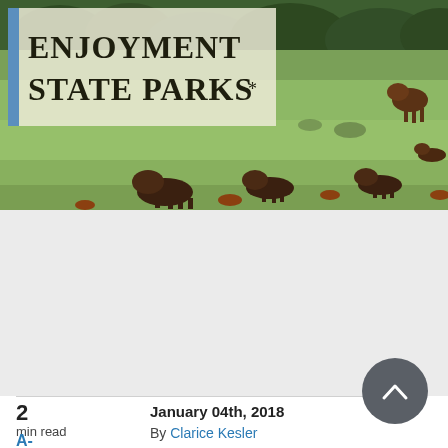[Figure (photo): Photo of bison grazing in a green field/meadow at a state park, with trees in the background. A sign overlay in the upper left reads 'ENJOYMENT [OF] STATE PARKS' in bold serif font with a blue vertical bar on the left side.]
2
min read
January 04th, 2018
By Clarice Kesler
A-